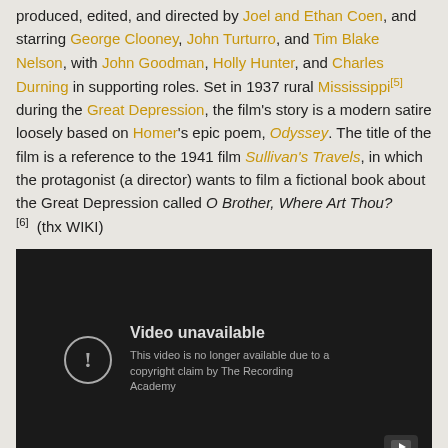produced, edited, and directed by Joel and Ethan Coen, and starring George Clooney, John Turturro, and Tim Blake Nelson, with John Goodman, Holly Hunter, and Charles Durning in supporting roles. Set in 1937 rural Mississippi[5] during the Great Depression, the film's story is a modern satire loosely based on Homer's epic poem, Odyssey. The title of the film is a reference to the 1941 film Sullivan's Travels, in which the protagonist (a director) wants to film a fictional book about the Great Depression called O Brother, Where Art Thou?[6]  (thx WIKI)
[Figure (screenshot): YouTube video embed showing 'Video unavailable' error message. Dark background with warning icon circle. Text reads: 'Video unavailable. This video is no longer available due to a copyright claim by The Recording Academy.' YouTube play button icon in bottom right corner.]